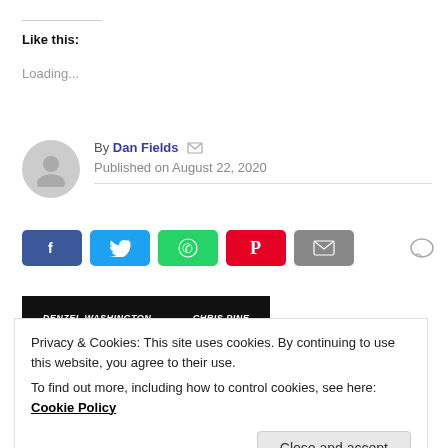Like this:
Loading...
By Dan Fields
Published on August 22, 2020
[Figure (infographic): Facebook share button]
[Figure (infographic): Twitter share button]
[Figure (infographic): WhatsApp share button]
[Figure (infographic): Pinterest share button]
[Figure (infographic): Email share button]
[Figure (infographic): Comment icon]
[Figure (screenshot): Movie banner showing DENZEL WASHINGTON and CHRIS PINE text on dark background]
Privacy & Cookies: This site uses cookies. By continuing to use this website, you agree to their use. To find out more, including how to control cookies, see here: Cookie Policy
Close and accept
[Figure (photo): Partial movie image at bottom of page]